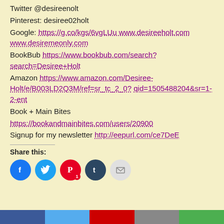Twitter @desireenolt
Pinterest: desiree02holt
Google: https://g.co/kgs/6vgLUu www.desireeholt.com www.desiremeonly.com
BookBub https://www.bookbub.com/search?search=Desiree+Holt
Amazon https://www.amazon.com/Desiree-Holt/e/B003LD2Q3M/ref=sr_tc_2_0?qid=1505488204&sr=1-2-ent
Book + Main Bites
https://bookandmainbites.com/users/20900
Signup for my newsletter http://eepurl.com/ce7DeE
Share this:
[Figure (infographic): Row of five social sharing icon buttons: Facebook (blue circle), Twitter (blue circle), Pinterest (red circle with badge '1'), Tumblr (dark blue circle), Email (grey circle)]